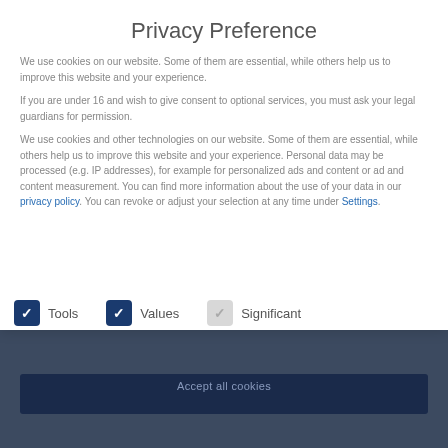Privacy Preference
We use cookies on our website. Some of them are essential, while others help us to improve this website and your experience.
If you are under 16 and wish to give consent to optional services, you must ask your legal guardians for permission.
We use cookies and other technologies on our website. Some of them are essential, while others help us to improve this website and your experience. Personal data may be processed (e.g. IP addresses), for example for personalized ads and content or ad and content measurement. You can find more information about the use of your data in our privacy policy. You can revoke or adjust your selection at any time under Settings.
Tools
Values
Significant